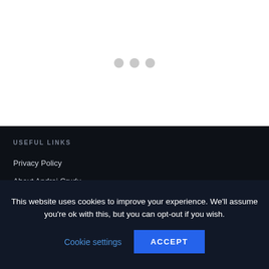[Figure (other): Three grey loading dots centered in the upper white section of the page]
USEFUL LINKS
Privacy Policy
About Andrei Crudu
About Bogdan Crudu
This website uses cookies to improve your experience. We'll assume you're ok with this, but you can opt-out if you wish.
Cookie settings
ACCEPT